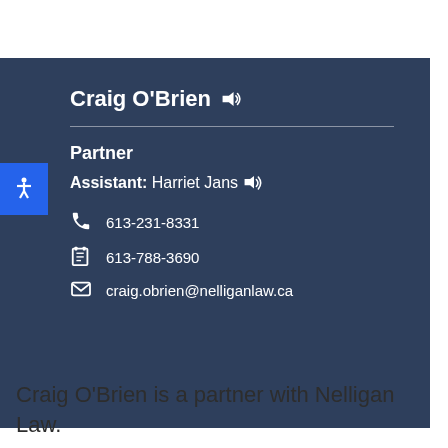Craig O'Brien
Partner
Assistant: Harriet Jans
613-231-8331
613-788-3690
craig.obrien@nelliganlaw.ca
Craig O'Brien is a partner with Nelligan Law.